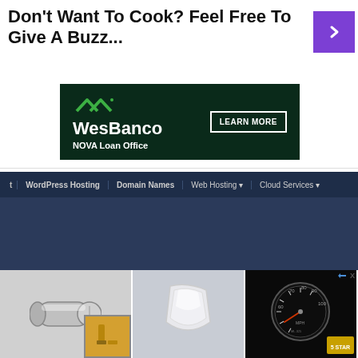Don’t Want To Cook? Feel Free To Give A Buzz...
[Figure (infographic): WesBanco NOVA Loan Office advertisement banner with green chevron logo, white bold text and LEARN MORE button on dark green background]
[Figure (screenshot): Website screenshot showing navigation bar with WordPress Hosting, Domain Names, Web Hosting, Cloud Services links, and Managed WordPress Hosting hero text on dark navy background]
[Figure (infographic): Advertisement row showing three product images: a metal cylinder tank, a white vehicle shroud/fairing, a black speedometer gauge, with 5Star logo and ad attribution icons]